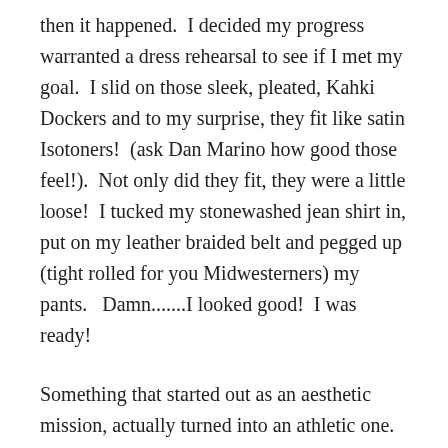then it happened.  I decided my progress warranted a dress rehearsal to see if I met my goal.  I slid on those sleek, pleated, Kahki Dockers and to my surprise, they fit like satin Isotoners!  (ask Dan Marino how good those feel!).  Not only did they fit, they were a little loose!  I tucked my stonewashed jean shirt in, put on my leather braided belt and pegged up (tight rolled for you Midwesterners) my pants.   Damn.......I looked good!  I was ready!
Something that started out as an aesthetic mission, actually turned into an athletic one.  You see, I was never blessed with amazing athletic coordination (don't believe me, throw something at me and see what